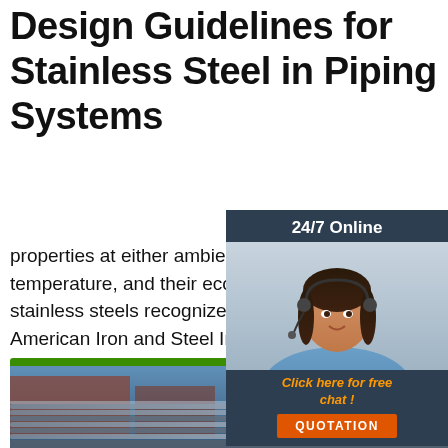Design Guidelines for Stainless Steel in Piping Systems
properties at either ambient, high, or low temperature, and their economy. Of the stainless steels recognized as standard by the American Iron and Steel Institute (AISI), the most commonly used in piping systems are the austenitic alloys represented by AISI Type 304, 304L, 316 and 316L. The austenitic Types 309 and 310, containing
[Figure (other): 24/7 Online chat widget with female customer service representative photo, 'Click here for free chat!' text in orange, and orange QUOTATION button]
[Figure (other): Get Price green button]
[Figure (other): TOP navigation icon with orange dots and orange text]
[Figure (photo): Bottom photograph showing stainless steel pipes/rods in an industrial setting with blue background]